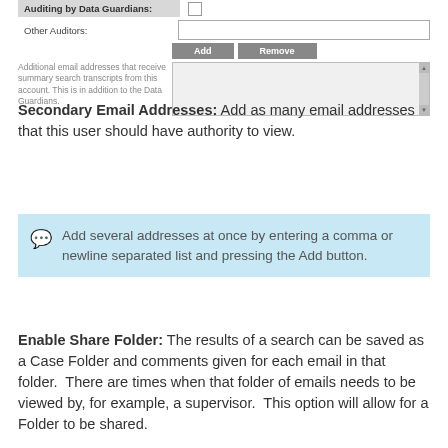Auditing by Data Guardians: [checkbox]
Other Auditors: [text input]
Additional email addresses that receive summary search transcripts from this account. This is in addition to the Data Guardians.
Secondary Email Addresses: Add as many email addresses that this user should have authority to view.
Add several addresses at once by entering a comma or newline separated list and pressing the Add button.
Enable Share Folder: The results of a search can be saved as a Case Folder and comments given for each email in that folder. There are times when that folder of emails needs to be viewed by, for example, a supervisor. This option will allow for a Folder to be shared.